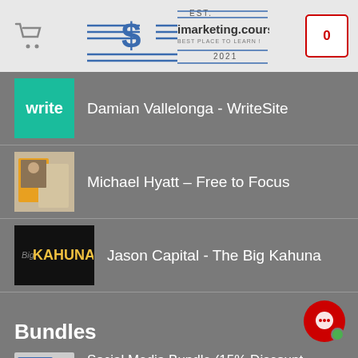[Figure (logo): imarketing.courses logo with dollar sign and lines, EST. 2021]
[Figure (logo): Shopping cart icon (left header)]
[Figure (logo): Shopping cart badge showing 0 (right header)]
Damian Vallelonga - WriteSite
Michael Hyatt – Free to Focus
Jason Capital - The Big Kahuna
Bundles
Social Media Bundle (15% Discount, From: $89.100 $70.55